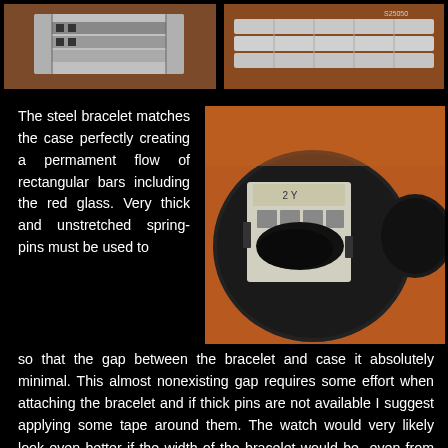[Figure (photo): Close-up photo of a steel watch bracelet clasp/link, left side, on brown leather background]
[Figure (photo): Close-up photo of a steel watch bracelet, right side, on brown leather background]
The steel bracelet matches the case perfectly creating a permament flow of rectangular bars including the red glass. Very thick and unstretched spring-pins must be used to
[Figure (photo): Close-up photo of a watch movement/module inside a round black case, showing circuit board with black blob/epoxy and metal contacts, on orange/brown background]
so that the gap between the bracelet and case it absolutely minimal. This almost nonexisting gap requires some effort when attaching the bracelet and if thick pins are not available I suggest applying some tape around them. The watch would very likely look even better if the width of the bracelet would be  even from the lugs to clasp so that it would be hard to tell that it is a watch at all. National Semiconductor modules are pretty reliable always secured with silicone and covered with a black sticker.